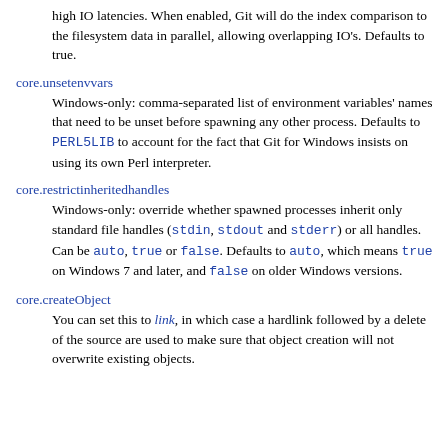high IO latencies. When enabled, Git will do the index comparison to the filesystem data in parallel, allowing overlapping IO's. Defaults to true.
core.unsetenvvars
Windows-only: comma-separated list of environment variables' names that need to be unset before spawning any other process. Defaults to PERL5LIB to account for the fact that Git for Windows insists on using its own Perl interpreter.
core.restrictinheritedhandles
Windows-only: override whether spawned processes inherit only standard file handles (stdin, stdout and stderr) or all handles. Can be auto, true or false. Defaults to auto, which means true on Windows 7 and later, and false on older Windows versions.
core.createObject
You can set this to link, in which case a hardlink followed by a delete of the source are used to make sure that object creation will not overwrite existing objects.